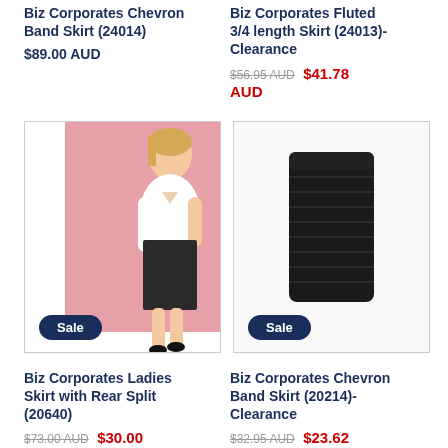Biz Corporates Chevron Band Skirt (24014)
$89.00 AUD
Biz Corporates Fluted 3/4 length Skirt (24013)-Clearance
$56.95 AUD $41.78 AUD
[Figure (photo): Model wearing a white top and black pencil skirt with Sale badge]
[Figure (photo): Black chevron band skirt product photo with Sale badge]
Biz Corporates Ladies Skirt with Rear Split (20640)
$73.00 AUD $30.00 AUD
Biz Corporates Chevron Band Skirt (20214)-Clearance
$32.95 AUD $23.62 AUD